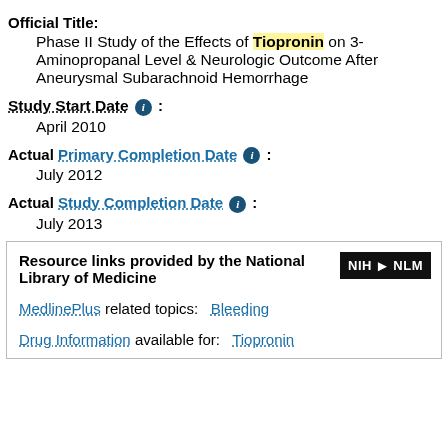Official Title:
Phase II Study of the Effects of Tiopronin on 3-Aminopropanal Level & Neurologic Outcome After Aneurysmal Subarachnoid Hemorrhage
Study Start Date ℹ :
April 2010
Actual Primary Completion Date ℹ :
July 2012
Actual Study Completion Date ℹ :
July 2013
Resource links provided by the National Library of Medicine
MedlinePlus related topics: Bleeding
Drug Information available for: Tiopronin